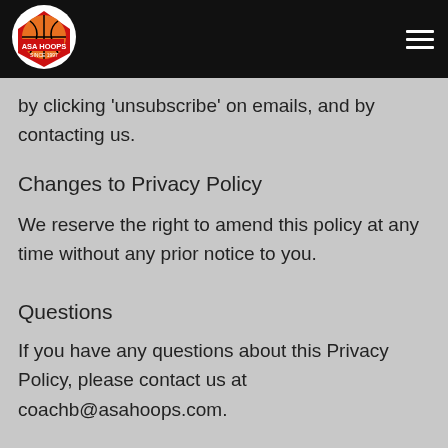ASA Hoops logo and navigation menu
by clicking 'unsubscribe' on emails, and by contacting us.
Changes to Privacy Policy
We reserve the right to amend this policy at any time without any prior notice to you.
Questions
If you have any questions about this Privacy Policy, please contact us at coachb@asahoops.com.